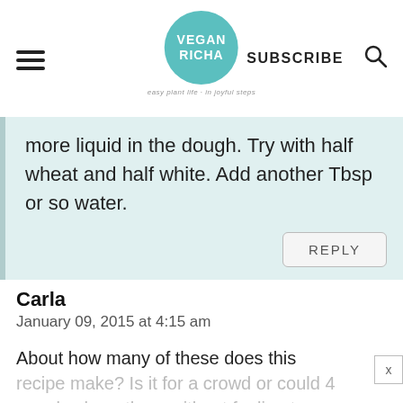VEGAN RICHA | SUBSCRIBE
more liquid in the dough. Try with half wheat and half white. Add another Tbsp or so water.
REPLY
Carla
January 09, 2015 at 4:15 am
About how many of these does this recipe make? Is it for a crowd or could 4 people share them without feeling too